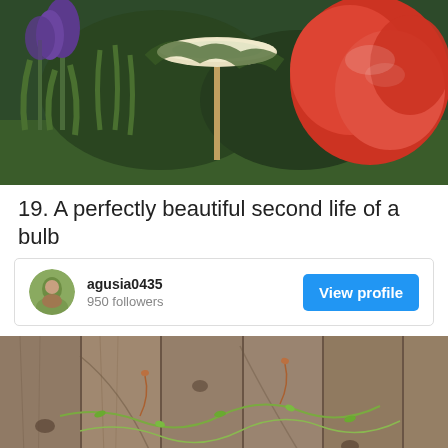[Figure (photo): Garden photo with bird bath, purple irises, and red Japanese maple shrub]
19. A perfectly beautiful second life of a bulb
[Figure (infographic): User profile card for agusia0435 with 950 followers and a View profile button]
[Figure (photo): Photo of wooden fence with small green plant tendrils growing across it]